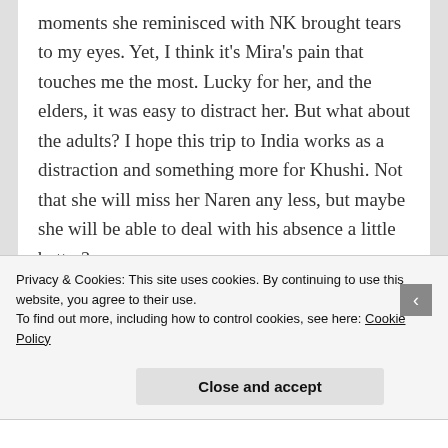moments she reminisced with NK brought tears to my eyes. Yet, I think it's Mira's pain that touches me the most. Lucky for her, and the elders, it was easy to distract her. But what about the adults? I hope this trip to India works as a distraction and something more for Khushi. Not that she will miss her Naren any less, but maybe she will be able to deal with his absence a little better?
Lavanya is God sent. It's terrifying to imagine
Privacy & Cookies: This site uses cookies. By continuing to use this website, you agree to their use.
To find out more, including how to control cookies, see here: Cookie Policy
Close and accept